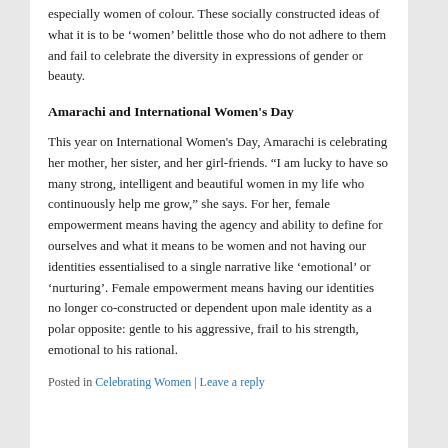especially women of colour. These socially constructed ideas of what it is to be 'women' belittle those who do not adhere to them and fail to celebrate the diversity in expressions of gender or beauty.
Amarachi and International Women's Day
This year on International Women's Day, Amarachi is celebrating her mother, her sister, and her girl-friends. “I am lucky to have so many strong, intelligent and beautiful women in my life who continuously help me grow,” she says. For her, female empowerment means having the agency and ability to define for ourselves and what it means to be women and not having our identities essentialised to a single narrative like ‘emotional’ or ‘nurturing’. Female empowerment means having our identities no longer co-constructed or dependent upon male identity as a polar opposite: gentle to his aggressive, frail to his strength, emotional to his rational.
Posted in Celebrating Women | Leave a reply